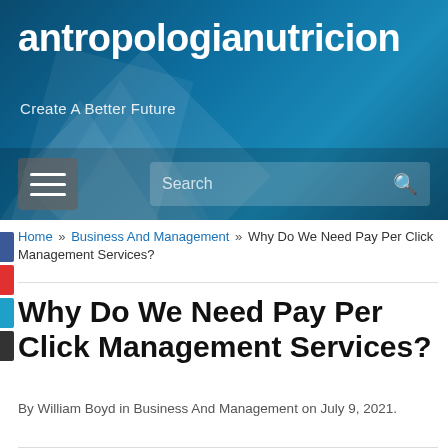antropologianutricion
Create A Better Future
[Figure (screenshot): Website header banner with dark blue gradient background, geometric shapes, site title 'antropologianutricion', tagline 'Create A Better Future', hamburger menu button, and search bar]
Home » Business And Management » Why Do We Need Pay Per Click Management Services?
Why Do We Need Pay Per Click Management Services?
By William Boyd in Business And Management on July 9, 2021.